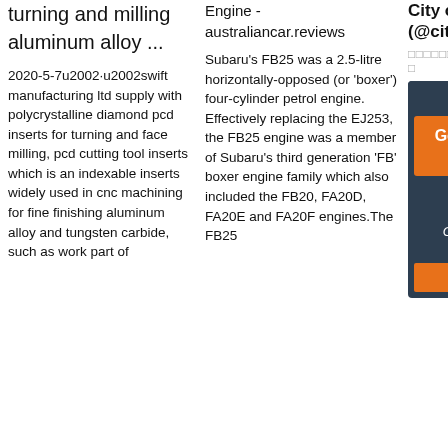turning and milling aluminum alloy ...
2020-5-7u2002·u2002swift manufacturing ltd supply with polycrystalline diamond pcd inserts for turning and face milling, pcd cutting tool inserts which is an indexable inserts widely used in cnc machining for fine finishing aluminum alloy and tungsten carbide, such as work part of
Engine - australiancar.reviews
Subaru's FB25 was a 2.5-litre horizontally-opposed (or 'boxer') four-cylinder petrol engine. Effectively replacing the EJ253, the FB25 engine was a member of Subaru's third generation 'FB' boxer engine family which also included the FB20, FA20D, FA20E and FA20F engines.The FB25
City of Calgary (@cityofcalgary)
□□□□□□□□,□□□□□□□□□□□□□
[Figure (other): Live chat customer service widget with 24/7 Online header, Get button, photo of female customer service agent, 'Click here for free chat!' text, and QUOTATION button]
[Figure (illustration): Orange TOP icon with upward arrow/triangle made of dots above the text TOP]